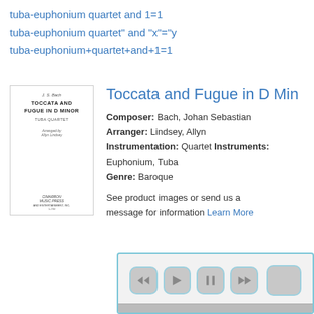tuba-euphonium quartet and 1=1
tuba-euphonium quartet" and "x"="y
tuba-euphonium+quartet+and+1=1
[Figure (illustration): Book cover: J.S. Bach Toccata and Fugue in D Minor, Tuba Quartet, arranged by Allyn Lindsey, Cimarron Music Press]
Toccata and Fugue in D Min
Composer: Bach, Johan Sebastian
Arranger: Lindsey, Allyn
Instrumentation: Quartet Instruments: Euphonium, Tuba
Genre: Baroque
See product images or send us a message for information Learn More
[Figure (other): Audio player with rewind, play, pause, fast-forward buttons and a progress bar]